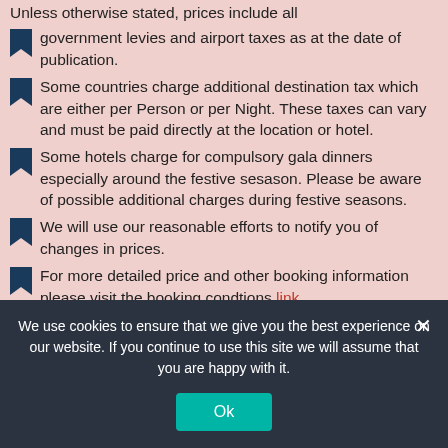government levies and airport taxes as at the date of publication.
Some countries charge additional destination tax which are either per Person or per Night. These taxes can vary and must be paid directly at the location or hotel.
Some hotels charge for compulsory gala dinners especially around the festive sesason. Please be aware of possible additional charges during festive seasons.
We will use our reasonable efforts to notify you of changes in prices.
For more detailed price and other booking information please visit the booking condtions link
We use cookies to ensure that we give you the best experience on our website. If you continue to use this site we will assume that you are happy with it.